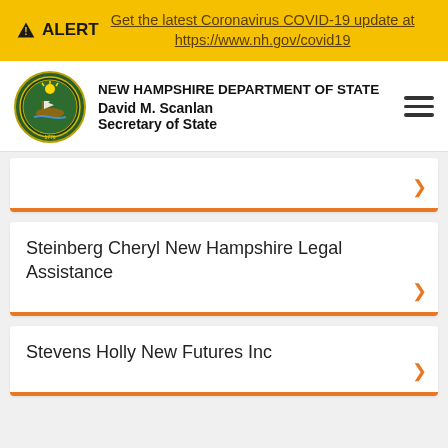ALERT  Get the latest Coronavirus COVID-19 update at https://www.nh.gov/covid19
NEW HAMPSHIRE DEPARTMENT OF STATE
David M. Scanlan
Secretary of State
Steinberg Cheryl New Hampshire Legal Assistance
Stevens Holly New Futures Inc